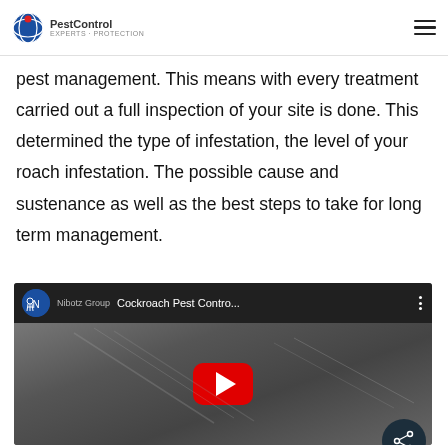PestControl
pest management. This means with every treatment carried out a full inspection of your site is done. This determined the type of infestation, the level of your roach infestation. The possible cause and sustenance as well as the best steps to take for long term management.
[Figure (screenshot): YouTube video thumbnail for 'Cockroach Pest Contro...' with a dark background showing a cockroach, a red YouTube play button in the center, and a channel icon for Nibotz Group in the top left.]